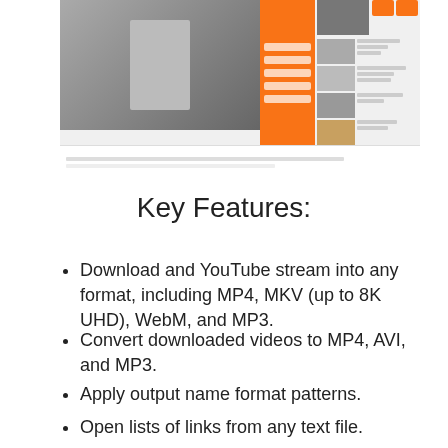[Figure (screenshot): Screenshot of a YouTube-like video player interface showing a video with orange playlist panel, sidebar thumbnails, and video metadata below.]
Key Features:
Download and YouTube stream into any format, including MP4, MKV (up to 8K UHD), WebM, and MP3.
Convert downloaded videos to MP4, AVI, and MP3.
Apply output name format patterns.
Open lists of links from any text file.